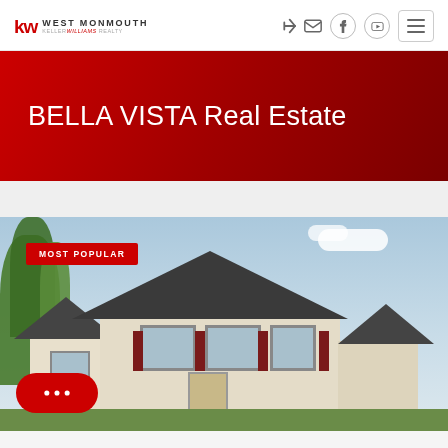KW WEST MONMOUTH — KELLER WILLIAMS REALTY
BELLA VISTA Real Estate
MOST POPULAR
[Figure (photo): Exterior photo of a two-story suburban house with dark gray roof, beige/white siding, dark red shutters, and green trees in background against a partly cloudy blue sky. A red 'MOST POPULAR' badge overlays the upper-left corner, and a red chat bubble button overlays the lower-left.]